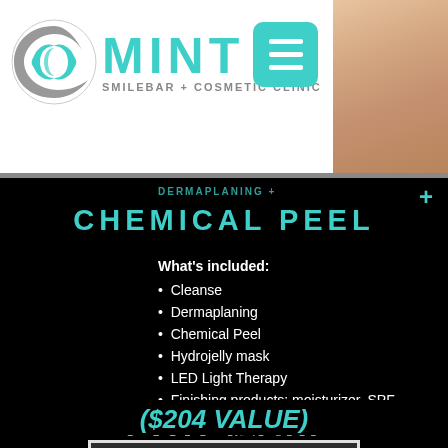[Figure (logo): Mint Smilebar + Cosmetic Clinic logo with teal crescent/leaf icon and teal MINT lettering]
CHEMICAL PEEL
What's included:
Cleanse
Dermaplaning
Chemical Peel
Hydrojelly mask
LED Light Therapy
Finishing products: moisturizer, SPF
FOR $129
($204 VALUE)
BOOK NOW